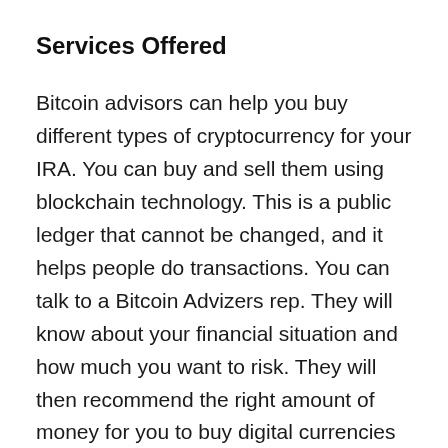Services Offered
Bitcoin advisors can help you buy different types of cryptocurrency for your IRA. You can buy and sell them using blockchain technology. This is a public ledger that cannot be changed, and it helps people do transactions. You can talk to a Bitcoin Advizers rep. They will know about your financial situation and how much you want to risk. They will then recommend the right amount of money for you to buy digital currencies with.
The most common coins are bought and sold